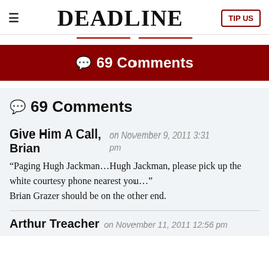≡  DEADLINE  TIP US
💬 69 Comments
💬 69 Comments
Give Him A Call, Brian
on November 9, 2011 3:31 pm
“Paging Hugh Jackman…Hugh Jackman, please pick up the white courtesy phone nearest you…” Brian Grazer should be on the other end.
Arthur Treacher
on November 11, 2011 12:56 pm